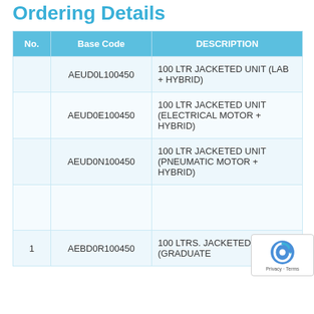Ordering Details
| No. | Base Code | DESCRIPTION |
| --- | --- | --- |
|  | AEUD0L100450 | 100 LTR JACKETED UNIT (LAB + HYBRID) |
|  | AEUD0E100450 | 100 LTR JACKETED UNIT (ELECTRICAL MOTOR + HYBRID) |
|  | AEUD0N100450 | 100 LTR JACKETED UNIT (PNEUMATIC MOTOR + HYBRID) |
|  |  |  |
| 1 | AEBD0R100450 | 100 LTRS. JACKETED VESSEL (GRADUATE... |